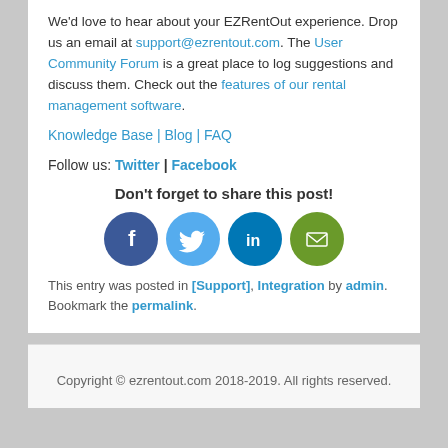We'd love to hear about your EZRentOut experience. Drop us an email at support@ezrentout.com. The User Community Forum is a great place to log suggestions and discuss them. Check out the features of our rental management software.
Knowledge Base | Blog | FAQ
Follow us: Twitter | Facebook
Don't forget to share this post!
[Figure (illustration): Social share icons: Facebook (dark blue circle), Twitter (light blue circle), LinkedIn (dark teal circle), Email (green circle)]
This entry was posted in [Support], Integration by admin. Bookmark the permalink.
Copyright © ezrentout.com 2018-2019. All rights reserved.